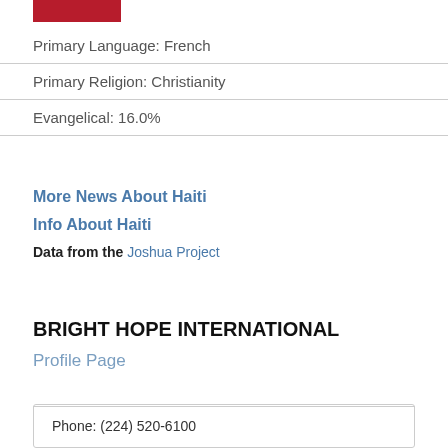[Figure (other): Red bar/logo image at top left]
Primary Language: French
Primary Religion: Christianity
Evangelical: 16.0%
More News About Haiti
Info About Haiti
Data from the Joshua Project
BRIGHT HOPE INTERNATIONAL
Profile Page
Phone: (224) 520-6100